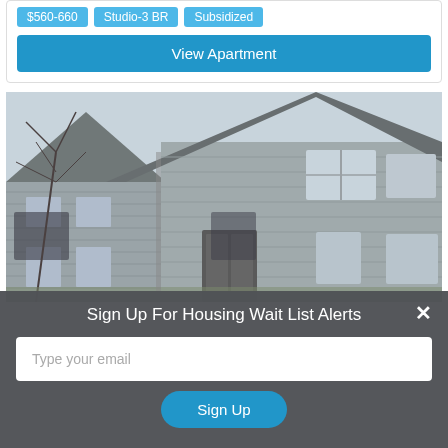$560-660 | Studio-3 BR | Subsidized
View Apartment
[Figure (photo): Exterior photo of a multi-unit residential building with gray siding, peaked roof, multiple windows and a central entrance, bare trees visible in foreground and background.]
Sign Up For Housing Wait List Alerts
Type your email
Sign Up